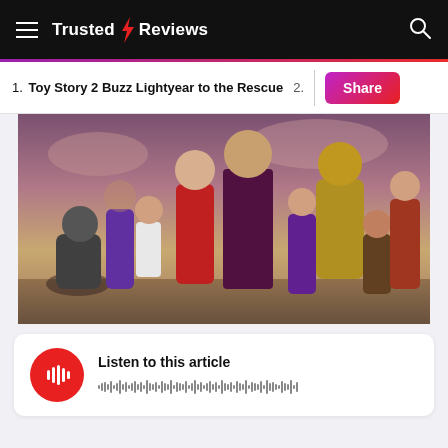Trusted Reviews
1. Toy Story 2 Buzz Lightyear to the Rescue
[Figure (photo): Video game characters group lineup from a 3D fighting game, various characters in fighting poses against a dramatic sky background]
Listen to this article